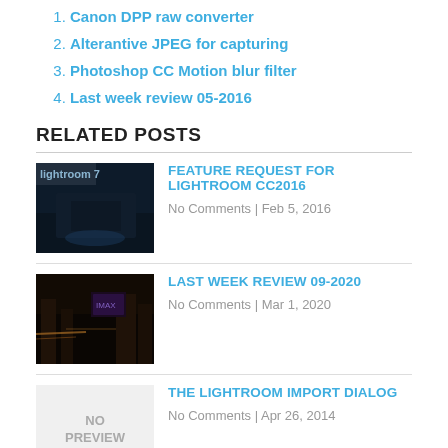1. Canon DPP raw converter
2. Alterantive JPEG for capturing
3. Photoshop CC Motion blur filter
4. Last week review 05-2016
RELATED POSTS
[Figure (photo): Lightroom 7 thumbnail image - dark blue toned night scene]
FEATURE REQUEST FOR LIGHTROOM CC2016
No Comments | Feb 5, 2016
[Figure (photo): Last week review 09-2020 thumbnail - night city scene with neon lights]
LAST WEEK REVIEW 09-2020
No Comments | Mar 1, 2020
[Figure (other): No Preview placeholder image]
THE LIGHTROOM IMPORT DIALOG
No Comments | Apr 26, 2014
[Figure (photo): Last week review 01-2019 thumbnail]
LAST WEEK REVIEW 01-2019